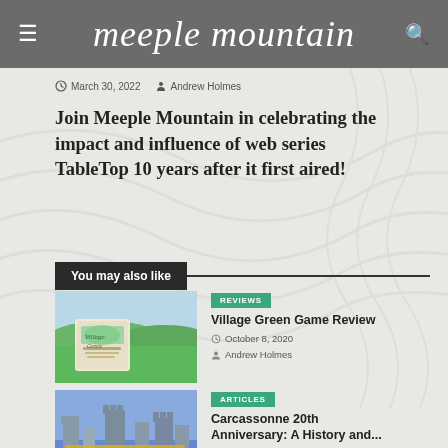meeple mountain
March 30, 2022  Andrew Holmes
Join Meeple Mountain in celebrating the impact and influence of web series TableTop 10 years after it first aired!
You may also like
[Figure (photo): Village Green board game box art showing a green meadow scene]
REVIEWS
Village Green Game Review
October 8, 2020
Andrew Holmes
[Figure (photo): Carcassonne 20th Anniversary board game box art]
ARTICLES
Carcassonne 20th Anniversary: A History and...